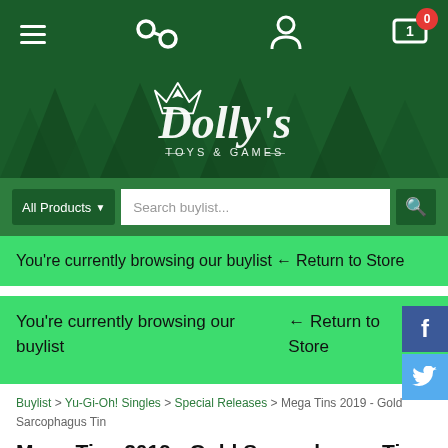Dolly's Toys & Games — Navigation bar with hamburger menu, links icon, user icon, cart icon with badge 0
[Figure (logo): Dolly's Toys & Games logo — white wolf/fox head with script lettering on dark green background with pine trees]
All Products  Search buylist...
You're currently browsing our buylist← Return to Store
You're currently browsing our buylist  ← Return to Store
Buylist > Yu-Gi-Oh! Singles > Special Releases > Mega Tins 2019 - Gold Sarcophagus Tin
Mega Tins 2019 - Gold Sarcophagus Tin
Filter